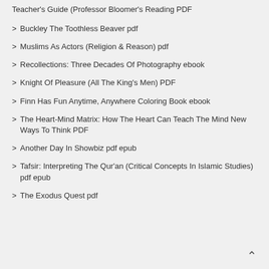Teacher's Guide (Professor Bloomer's Reading PDF
Buckley The Toothless Beaver pdf
Muslims As Actors (Religion & Reason) pdf
Recollections: Three Decades Of Photography ebook
Knight Of Pleasure (All The King's Men) PDF
Finn Has Fun Anytime, Anywhere Coloring Book ebook
The Heart-Mind Matrix: How The Heart Can Teach The Mind New Ways To Think PDF
Another Day In Showbiz pdf epub
Tafsir: Interpreting The Qur'an (Critical Concepts In Islamic Studies) pdf epub
The Exodus Quest pdf